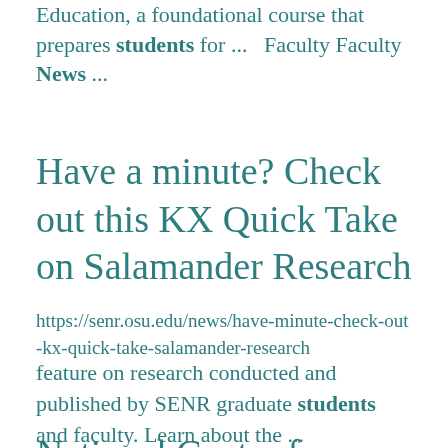Education, a foundational course that prepares students for ...  Faculty Faculty News ...
Have a minute? Check out this KX Quick Take on Salamander Research
https://senr.osu.edu/news/have-minute-check-out-kx-quick-take-salamander-research
feature on research conducted and published by SENR graduate students and faculty. Learn about the ...
National Center for Faculty Development & Diversity